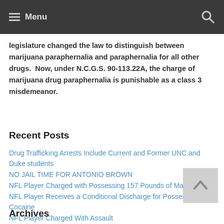Menu
legislature changed the law to distinguish between marijuana paraphernalia and paraphernalia for all other drugs.  Now, under N.C.G.S. 90-113.22A, the charge of marijuana drug paraphernalia is punishable as a class 3 misdemeanor.
Recent Posts
Drug Trafficking Arrests Include Current and Former UNC and Duke students
NO JAIL TIME FOR ANTONIO BROWN
NFL Player Charged with Possessing 157 Pounds of Marijuana
NFL Player Receives a Conditional Discharge for Possession of Cocaine
NFL Player Charged With Assault
Archives